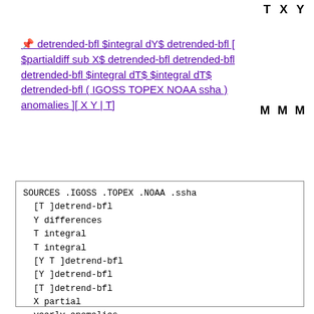T X Y
📌 detrended-bfl $integral dY$ detrended-bfl [ $partialdiff sub X$ detrended-bfl detrended-bfl detrended-bfl $integral dT$ $integral dT$ detrended-bfl ( IGOSS TOPEX NOAA ssha ) anomalies ][ X Y | T]
M M M
SOURCES .IGOSS .TOPEX .NOAA .ssha
  [T ]detrend-bfl
  Y differences
  T integral
  T integral
  [Y T ]detrend-bfl
  [Y ]detrend-bfl
  [T ]detrend-bfl
  X partial
  yearly-anomalies
  [X T ]detrend-bfl
  Y integral
  T differences
  [Y T ]detrend-bfl